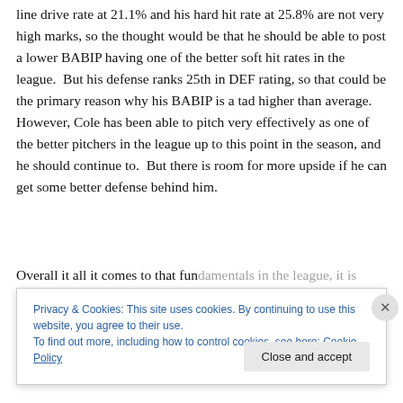line drive rate at 21.1% and his hard hit rate at 25.8% are not very high marks, so the thought would be that he should be able to post a lower BABIP having one of the better soft hit rates in the league.  But his defense ranks 25th in DEF rating, so that could be the primary reason why his BABIP is a tad higher than average.  However, Cole has been able to pitch very effectively as one of the better pitchers in the league up to this point in the season, and he should continue to.  But there is room for more upside if he can get some better defense behind him.
Overall it all it comes to that fundamentals in the league, it is...
Privacy & Cookies: This site uses cookies. By continuing to use this website, you agree to their use.
To find out more, including how to control cookies, see here: Cookie Policy